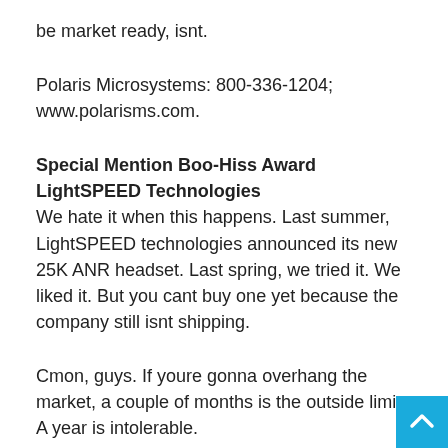be market ready, isnt.
Polaris Microsystems: 800-336-1204; www.polarisms.com.
Special Mention Boo-Hiss Award
LightSPEED Technologies
We hate it when this happens. Last summer, LightSPEED technologies announced its new 25K ANR headset. Last spring, we tried it. We liked it. But you cant buy one yet because the company still isnt shipping.
Cmon, guys. If youre gonna overhang the market, a couple of months is the outside limit. A year is intolerable.
Meanwhile, what to do? We certainly cant recommend what you cant buy. And although were reluctant to reward this sort of behavior in the marketplace, we still think the previous